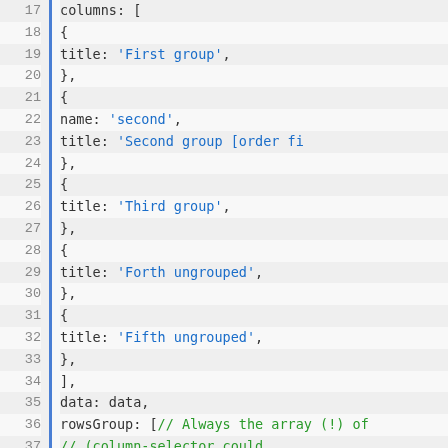[Figure (screenshot): Code editor screenshot showing JavaScript code lines 17–41 with line numbers on the left, a blue vertical bar separator, and syntax-highlighted code on the right. String values are shown in blue, comments in green, and other code in dark/black.]